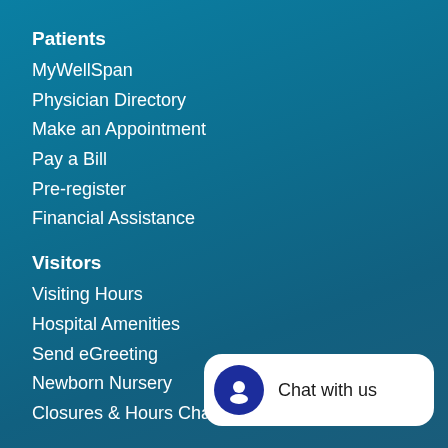Patients
MyWellSpan
Physician Directory
Make an Appointment
Pay a Bill
Pre-register
Financial Assistance
Visitors
Visiting Hours
Hospital Amenities
Send eGreeting
Newborn Nursery
Closures & Hours Changes
For Medical Professionals
Graduate Medical Education
Nursing at WellSpan
[Figure (infographic): Chat with us widget — white rounded rectangle with a dark blue circle containing a chat agent icon and the text 'Chat with us']